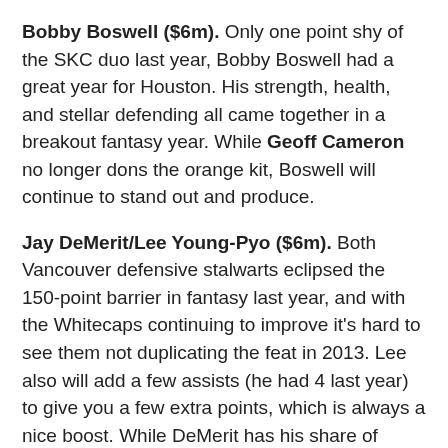Bobby Boswell ($6m). Only one point shy of the SKC duo last year, Bobby Boswell had a great year for Houston. His strength, health, and stellar defending all came together in a breakout fantasy year. While Geoff Cameron no longer dons the orange kit, Boswell will continue to stand out and produce.
Jay DeMerit/Lee Young-Pyo ($6m). Both Vancouver defensive stalwarts eclipsed the 150-point barrier in fantasy last year, and with the Whitecaps continuing to improve it's hard to see them not duplicating the feat in 2013. Lee also will add a few assists (he had 4 last year) to give you a few extra points, which is always a nice boost. While DeMerit has his share of injury issues, there's no denying that he's more than capable of putting up huge fantasy efforts when healthy.